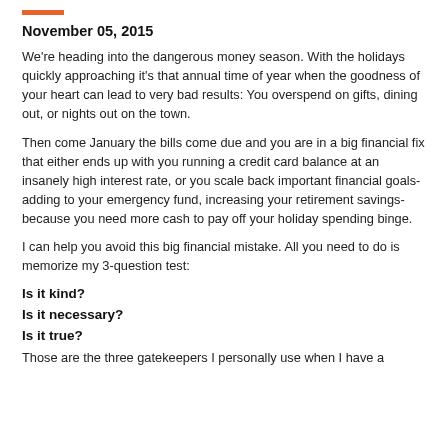November 05, 2015
We're heading into the dangerous money season. With the holidays quickly approaching it's that annual time of year when the goodness of your heart can lead to very bad results: You overspend on gifts, dining out, or nights out on the town.
Then come January the bills come due and you are in a big financial fix that either ends up with you running a credit card balance at an insanely high interest rate, or you scale back important financial goals-adding to your emergency fund, increasing your retirement savings-because you need more cash to pay off your holiday spending binge.
I can help you avoid this big financial mistake. All you need to do is memorize my 3-question test:
Is it kind?
Is it necessary?
Is it true?
Those are the three gatekeepers I personally use when I have a